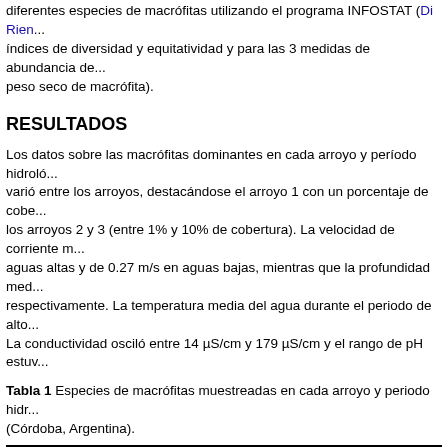diferentes especies de macrófitas utilizando el programa INFOSTAT (Di Rien... índices de diversidad y equitatividad y para las 3 medidas de abundancia de... peso seco de macrófita).
RESULTADOS
Los datos sobre las macrófitas dominantes en cada arroyo y período hidrológico varió entre los arroyos, destacándose el arroyo 1 con un porcentaje de cobertura mayor que los arroyos 2 y 3 (entre 1% y 10% de cobertura). La velocidad de corriente media fue de 0.47 m/s en aguas altas y de 0.27 m/s en aguas bajas, mientras que la profundidad media fue de 18 cm y 12 cm respectivamente. La temperatura media del agua durante el periodo de alto caudal fue de ... La conductividad osciló entre 14 µS/cm y 179 µS/cm y el rango de pH estuvo entre...
Tabla 1 Especies de macrófitas muestreadas en cada arroyo y periodo hidrológico (Córdoba, Argentina).
|  | Arroyo 1 | Arroyo 2 |
| --- | --- | --- |
| Aguas altas | Hydrocotyle spp. | Ranunculus flageliformis Hydrocotyle s... |
| Aguas bajas | Rorippa nasturtium-aquaticum | Ranunculus flageliformis |
Se identificaron 72 taxones de macroinvertebrados fitófilos (Tabla 2). Los más... curvispina Shoemaker, 1942, Americabaetis spp., Corynoneura spp. y Rheo... mostraron una diferenciación estacional en la composición taxonómica de los... bajas Naidinae fue dominante, mientras que en el período de aguas altas de... aguas bajas se observó una disminución marcada de la abundancia de Pan... Pseudochironomus spp. y Dugasidae, y un incremento en la densidad de A...